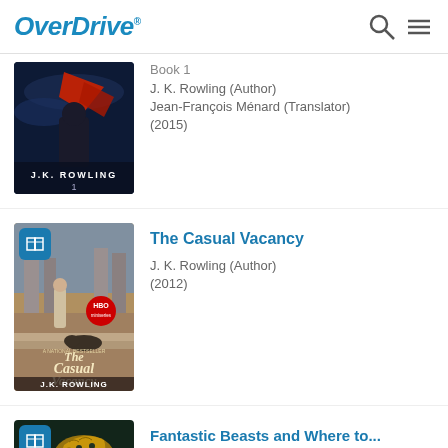OverDrive
[Figure (screenshot): Book cover for J.K. Rowling Book 1 audiobook, dark fantasy art with figure in red cape]
Book 1
J. K. Rowling (Author)
Jean-François Ménard (Translator)
(2015)
[Figure (screenshot): Book cover for The Casual Vacancy by J.K. Rowling, moody outdoor scene with HBO miniseries badge]
The Casual Vacancy
J. K. Rowling (Author)
(2012)
[Figure (screenshot): Book cover for Fantastic Beasts and Where to Find Them, dark green with gold creature]
Fantastic Beasts and Where to...
Hogwarts Library Book (Series)
J. K. Rowling (Author)